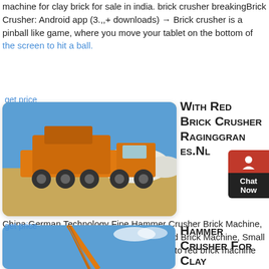machine for clay brick for sale in india. brick crusher breakingBrick Crusher: Android app (3.,,+ downloads) → Brick crusher is a pinball like game, where you move your tablet on the bottom of the screen to hit a ball.
get price
[Figure (photo): Large orange mobile crusher machine on a truck, parked on sandy/dirt ground with white mounds in background and blue sky.]
With Red Brick Crusher Raginggran es.Nl
China German Technology Fine Hammer Crusher Brick Machine, Find details about China Automatic Soil Red Brick Machine, Small Brick Making Machine from clay crusher auto red brick machine for sale
get price
[Figure (photo): Orange crane or piling machine against blue sky with clouds.]
Hammer Crusher For Clay Taxicompanyz aamtar.Nl